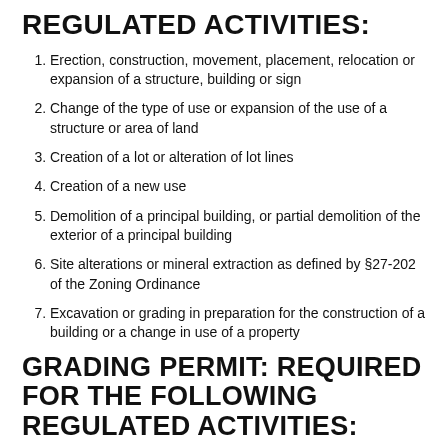REGULATED ACTIVITIES:
Erection, construction, movement, placement, relocation or expansion of a structure, building or sign
Change of the type of use or expansion of the use of a structure or area of land
Creation of a lot or alteration of lot lines
Creation of a new use
Demolition of a principal building, or partial demolition of the exterior of a principal building
Site alterations or mineral extraction as defined by §27-202 of the Zoning Ordinance
Excavation or grading in preparation for the construction of a building or a change in use of a property
GRADING PERMIT: REQUIRED FOR THE FOLLOWING REGULATED ACTIVITIES:
Construction of a principal residential structure.
Construction of a non-residential addition or accessory